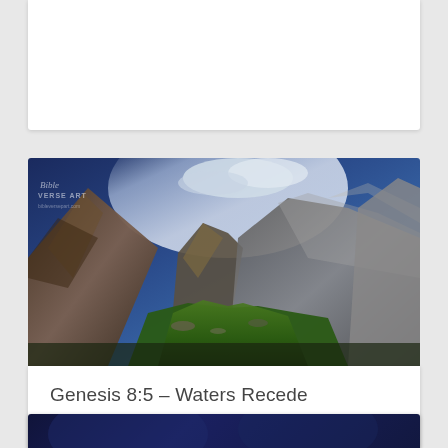[Figure (photo): Top partial card — white card with rounded corners, mostly empty/cut off at top of page]
[Figure (photo): Dramatic mountain landscape photo with rocky peaks, green foreground, blue cloudy sky, and artistic filter treatment. Watermark 'Bible VERSE ART' in upper left corner.]
Genesis 8:5 – Waters Recede
[Figure (photo): Partial view of a dark blue card at the bottom of the page, partially cropped]